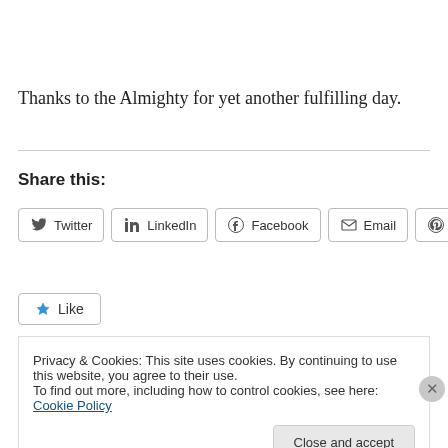Thanks to the Almighty for yet another fulfilling day.
Share this:
[Figure (other): Social share buttons: Twitter, LinkedIn, Facebook, Email, Pinterest]
[Figure (other): Like button with star icon]
Privacy & Cookies: This site uses cookies. By continuing to use this website, you agree to their use.
To find out more, including how to control cookies, see here: Cookie Policy
Close and accept